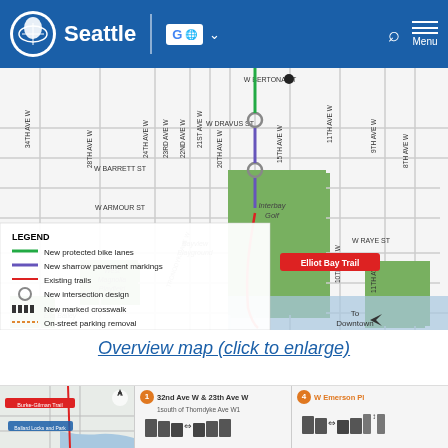Seattle
[Figure (map): Street map of Interbay/Magnolia neighborhood in Seattle showing bike infrastructure improvements. Includes streets such as W Bertona St, W Dravus St, 34th Ave W, 28th Ave W, 24th Ave W, 23rd Ave W, 22nd Ave W, 21st Ave W, 20th Ave W, 15th Ave W, 11th Ave W, 9th Ave W, 8th Ave W. Green line shows new protected bike lanes, purple shows new sharrow pavement markings, red shows existing trails (Elliot Bay Trail), circles show new intersection design. Landmarks: West Magnolia Playfield, Bayview Playground, Ella Bailey Park, Interbay Golf. Arrow pointing to Downtown.]
Overview map (click to enlarge)
[Figure (map): Small thumbnail overview map showing Burke-Gilman Trail and Ballard Locks and Park areas]
32nd Ave W & 23th Ave W
1south of Thorndyke Ave W1
W Emerson Pl